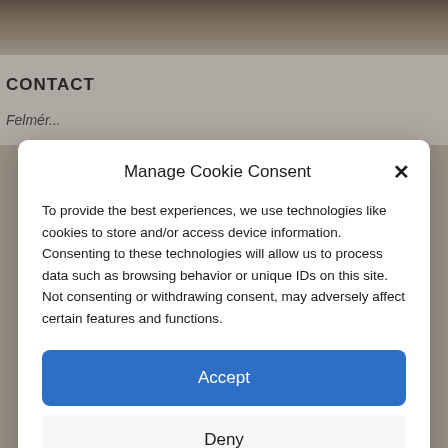[Figure (screenshot): Background website screenshot showing a header image with nature/outdoor photos and a 'CONTACT' section heading partially visible]
CONTACT
Manage Cookie Consent
To provide the best experiences, we use technologies like cookies to store and/or access device information. Consenting to these technologies will allow us to process data such as browsing behavior or unique IDs on this site. Not consenting or withdrawing consent, may adversely affect certain features and functions.
Accept
Deny
View preferences
Cookie Policy   Privacy Statement